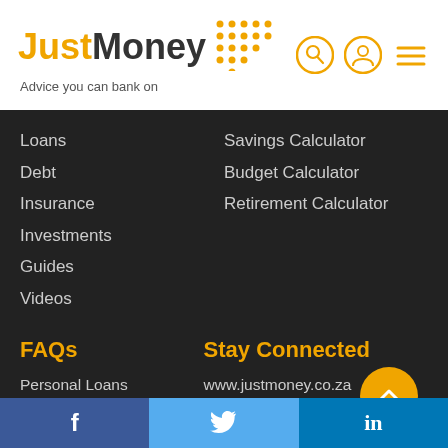[Figure (logo): JustMoney logo with orange 'Just' text, dark 'Money' text, decorative orange dot grid, tagline 'Advice you can bank on', and navigation icons including search, user profile, and hamburger menu]
Loans
Debt
Insurance
Investments
Guides
Videos
Savings Calculator
Budget Calculator
Retirement Calculator
FAQs
Stay Connected
Personal Loans
Debt Consolidation
Insurance
www.justmoney.co.za
info@justmoney.co.za
5th Floor, 11 Adderley Street, Cape Town, City Center, 8001
[Figure (infographic): Social media bar with Facebook (dark blue), Twitter (light blue), and LinkedIn (medium blue) icons at the bottom of the page]